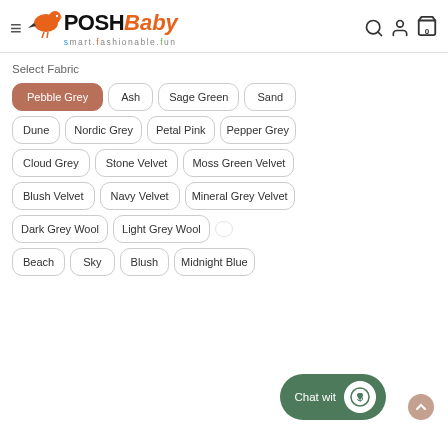[Figure (logo): PoshBaby logo with orange bird, bold POSH in dark and Baby in orange italic, tagline smart.fashionable.fun]
Select Fabric
Pebble Grey (selected)
Ash
Sage Green
Sand
Dune
Nordic Grey
Petal Pink
Pepper Grey
Cloud Grey
Stone Velvet
Moss Green Velvet
Blush Velvet
Navy Velvet
Mineral Grey Velvet
Dark Grey Wool
Light Grey Wool
Beach
Sky
Blush
Midnight Blue
Chat wit